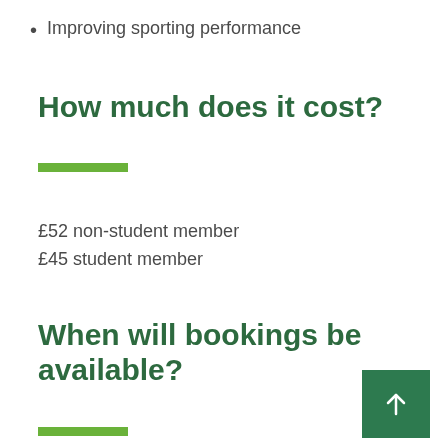Improving sporting performance
How much does it cost?
£52 non-student member
£45 student member
When will bookings be available?